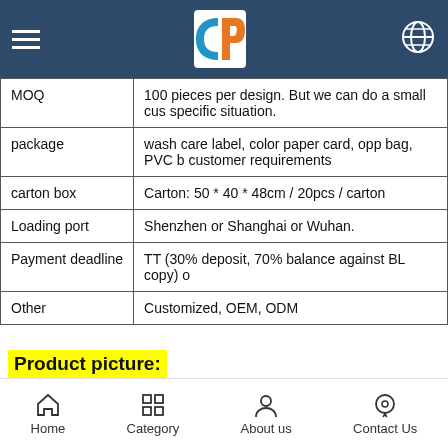Navigation header with logo and hamburger menu
| Field | Value |
| --- | --- |
| MOQ | 100 pieces per design. But we can do a small cus specific situation. |
| package | wash care label, color paper card, opp bag, PVC b customer requirements |
| carton box | Carton: 50 * 40 * 48cm / 20pcs / carton |
| Loading port | Shenzhen or Shanghai or Wuhan. |
| Payment deadline | TT (30% deposit, 70% balance against BL copy) o |
| Other | Customized, OEM, ODM |
Product picture:
Home  Category  About us  Contact Us